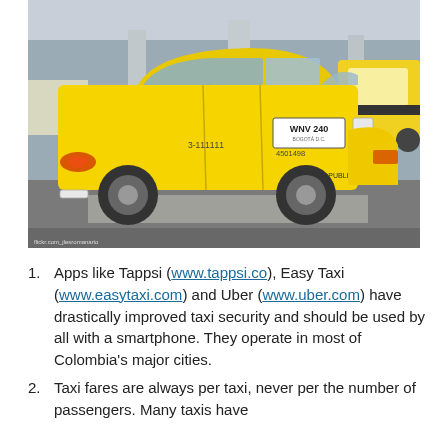[Figure (photo): Yellow Colombian taxi cab (plate WNV 240) with markings '3-111111', '4501498', and 'SERVICIO PUBLICO' on the door, parked at what appears to be an airport or bus terminal. Other yellow taxis visible in background. Photo credit: flickr.com_jlesromanario]
Apps like Tappsi (www.tappsi.co), Easy Taxi (www.easytaxi.com) and Uber (www.uber.com) have drastically improved taxi security and should be used by all with a smartphone. They operate in most of Colombia's major cities.
Taxi fares are always per taxi, never per the number of passengers. Many taxis have